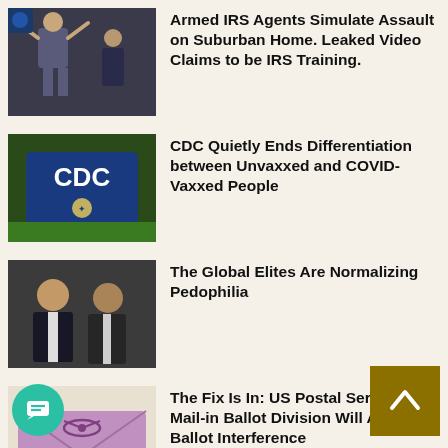[Figure (photo): Person with hands raised, figures in background]
Armed IRS Agents Simulate Assault on Suburban Home. Leaked Video Claims to be IRS Training.
[Figure (photo): CDC sign with CDC logo]
CDC Quietly Ends Differentiation between Unvaxxed and COVID-Vaxxed People
[Figure (photo): Two men in suits posing together]
The Global Elites Are Normalizing Pedophilia
[Figure (photo): Pink envelope with mail-in ballot]
The Fix Is In: US Postal Service New Mail-in Ballot Division Will Allow Ballot Interference